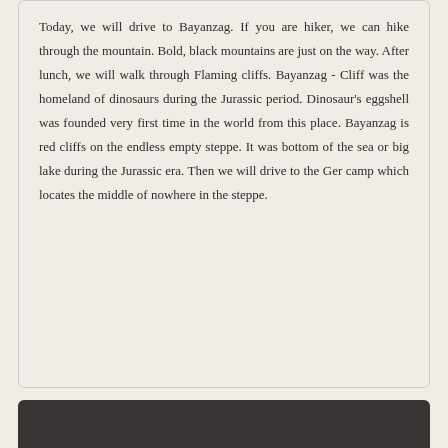Today, we will drive to Bayanzag. If you are hiker, we can hike through the mountain. Bold, black mountains are just on the way. After lunch, we will walk through Flaming cliffs. Bayanzag - Cliff was the homeland of dinosaurs during the Jurassic period. Dinosaur's eggshell was founded very first time in the world from this place. Bayanzag is red cliffs on the endless empty steppe. It was bottom of the sea or big lake during the Jurassic era. Then we will drive to the Ger camp which locates the middle of nowhere in the steppe.